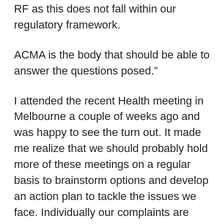RF as this does not fall within our regulatory framework.
ACMA is the body that should be able to answer the questions posed."
I attended the recent Health meeting in Melbourne a couple of weeks ago and was happy to see the turn out. It made me realize that we should probably hold more of these meetings on a regular basis to brainstorm options and develop an action plan to tackle the issues we face. Individually our complaints are falling on deaf ears. We need to be more coordinated with our actions. We should also try to get support from those scientists who have performed research and found compelling